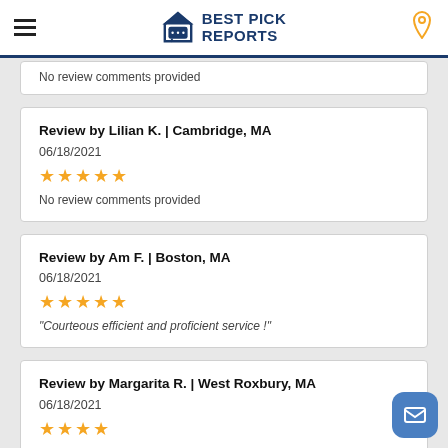Best Pick Reports
No review comments provided
Review by Lilian K. | Cambridge, MA
06/18/2021
★★★★★
No review comments provided
Review by Am F. | Boston, MA
06/18/2021
★★★★★
"Courteous efficient and proficient service !"
Review by Margarita R. | West Roxbury, MA
06/18/2021
★★★★★